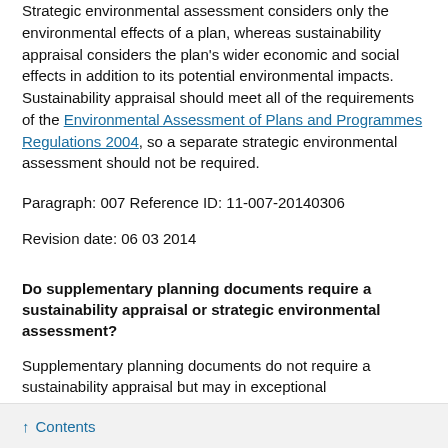Strategic environmental assessment considers only the environmental effects of a plan, whereas sustainability appraisal considers the plan's wider economic and social effects in addition to its potential environmental impacts. Sustainability appraisal should meet all of the requirements of the Environmental Assessment of Plans and Programmes Regulations 2004, so a separate strategic environmental assessment should not be required.
Paragraph: 007 Reference ID: 11-007-20140306
Revision date: 06 03 2014
Do supplementary planning documents require a sustainability appraisal or strategic environmental assessment?
Supplementary planning documents do not require a sustainability appraisal but may in exceptional circumstances require a strategic environmental assessment if they are likely to have significant environmental effects.
↑ Contents